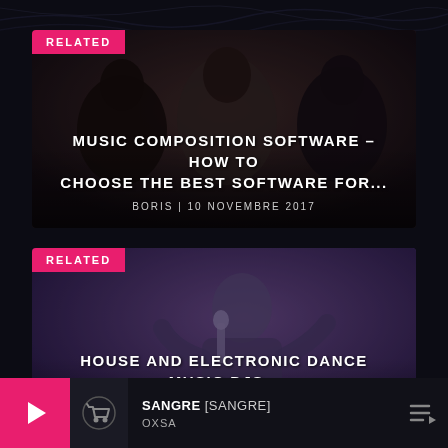[Figure (photo): Related article card: three people sitting, muted dark tones with 'RELATED' badge and article title overlay]
MUSIC COMPOSITION SOFTWARE – HOW TO CHOOSE THE BEST SOFTWARE FOR...
BORIS | 10 NOVEMBRE 2017
[Figure (photo): Related article card: female singer with microphone on stage, purple/blue tones with 'RELATED' badge and article title overlay]
HOUSE AND ELECTRONIC DANCE MUSIC DJS – USE A PLAYLIST
BORIS | 10 NOVEMBRE 2017
SANGRE [SANGRE] OXSA